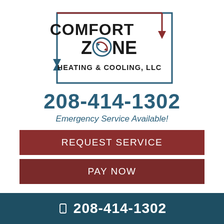[Figure (logo): Comfort Zone Heating & Cooling, LLC logo with red and teal arrows in a rectangular border and a circular heating/cooling symbol for the letter O in Zone]
208-414-1302
Emergency Service Available!
REQUEST SERVICE
PAY NOW
208-414-1302